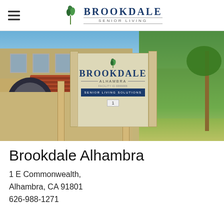Brookdale Senior Living
[Figure (photo): Exterior photo of Brookdale Alhambra senior living facility showing building facade with terracotta roof tiles, arched entrance, monument sign reading Brookdale Alhambra Senior Living Solutions, and palm trees in background]
Brookdale Alhambra
1 E Commonwealth, Alhambra, CA 91801
626-988-1271